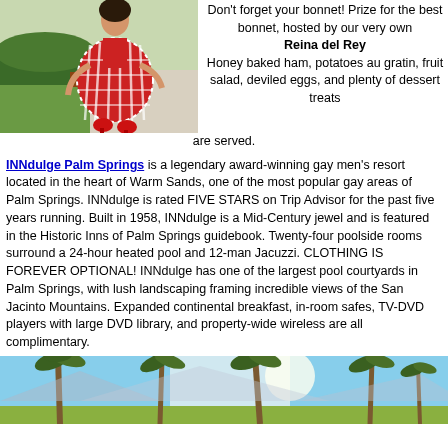[Figure (photo): Person in red gingham dress and red heels standing outdoors on a sidewalk near a lawn]
Don't forget your bonnet! Prize for the best bonnet, hosted by our very own Reina del Rey Honey baked ham, potatoes au gratin, fruit salad, deviled eggs, and plenty of dessert treats are served.
INNdulge Palm Springs is a legendary award-winning gay men's resort located in the heart of Warm Sands, one of the most popular gay areas of Palm Springs. INNdulge is rated FIVE STARS on Trip Advisor for the past five years running. Built in 1958, INNdulge is a Mid-Century jewel and is featured in the Historic Inns of Palm Springs guidebook. Twenty-four poolside rooms surround a 24-hour heated pool and 12-man Jacuzzi. CLOTHING IS FOREVER OPTIONAL! INNdulge has one of the largest pool courtyards in Palm Springs, with lush landscaping framing incredible views of the San Jacinto Mountains. Expanded continental breakfast, in-room safes, TV-DVD players with large DVD library, and property-wide wireless are all complimentary.
[Figure (photo): Outdoor scene with tall palm trees against a blue sky, pool courtyard area at INNdulge Palm Springs]